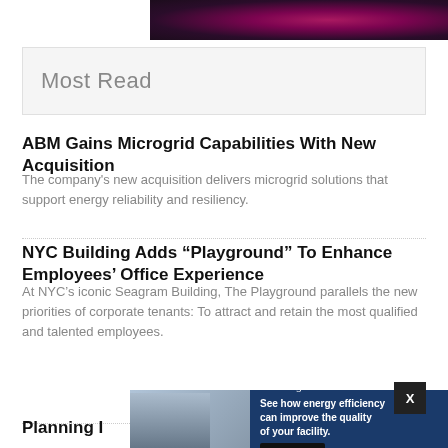[Figure (photo): Close-up photo of pink/magenta biological or organic strands on dark background]
Most Read
ABM Gains Microgrid Capabilities With New Acquisition
The company’s new acquisition delivers microgrid solutions that support energy reliability and resiliency.
NYC Building Adds “Playground” To Enhance Employees’ Office Experience
At NYC’s iconic Seagram Building, The Playground parallels the new priorities of corporate tenants: To attract and retain the most qualified and talented employees.
Planning I
[Figure (advertisement): National Grid advertisement: See how energy efficiency can improve the quality of your facility. Learn more.]